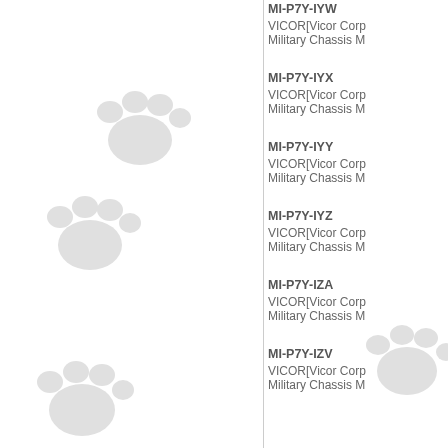[Figure (illustration): Decorative paw print watermarks scattered across the left portion of the page]
MI-P7Y-IYW
VICOR[Vicor Corp
Military Chassis M
MI-P7Y-IYX
VICOR[Vicor Corp
Military Chassis M
MI-P7Y-IYY
VICOR[Vicor Corp
Military Chassis M
MI-P7Y-IYZ
VICOR[Vicor Corp
Military Chassis M
MI-P7Y-IZA
VICOR[Vicor Corp
Military Chassis M
MI-P7Y-IZV
VICOR[Vicor Corp
Military Chassis M